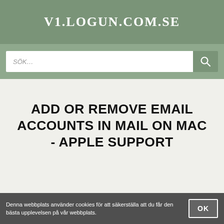V1.LOGUN.COM.SE
ADD OR REMOVE EMAIL ACCOUNTS IN MAIL ON MAC - APPLE SUPPORT
Denna webbplats använder cookies för att säkerställa att du får den bästa upplevelsen på vår webbplats.